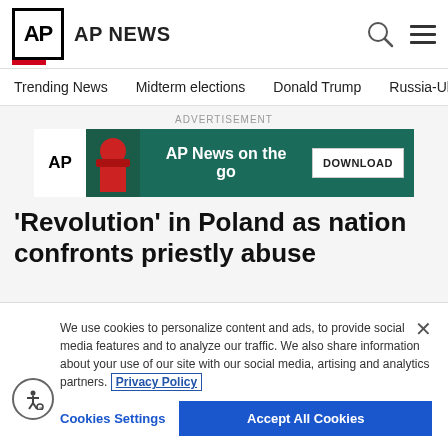AP AP NEWS
Trending News   Midterm elections   Donald Trump   Russia-Ukr
ADVERTISEMENT
[Figure (screenshot): AP News on the go advertisement banner with DOWNLOAD button]
'Revolution' in Poland as nation confronts priestly abuse
We use cookies to personalize content and ads, to provide social media features and to analyze our traffic. We also share information about your use of our site with our social media, advertising and analytics partners. Privacy Policy
Cookies Settings   Accept All Cookies